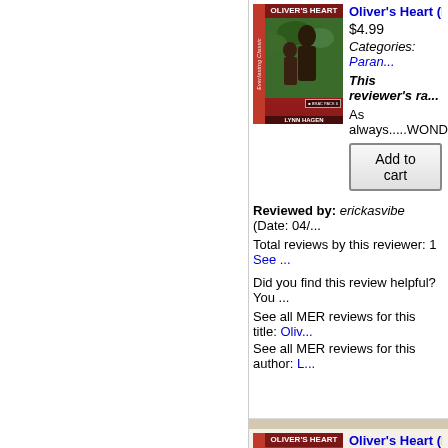[Figure (photo): Book cover for Oliver's Heart by Lynn Hagen, Brac Pack 6, Everlasting Classic series with red spine]
Oliver's Heart (M...
$4.99
Categories: Paran...
This reviewer's ra...
As always.....WOND...
Add to cart
Reviewed by: erickasvibe (Date: 04/...
Total reviews by this reviewer: 1 See ...
Did you find this review helpful? You ...
See all MER reviews for this title: Oliv...
See all MER reviews for this author: L...
[Figure (photo): Book cover for Oliver's Heart by Lynn Hagen, second instance]
Oliver's Heart (M...
$4.99
Categories: Paran...
This reviewer's ra...
I love this series!...